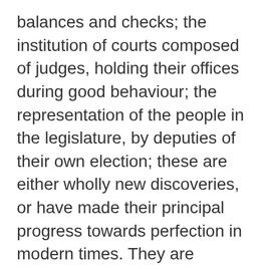balances and checks; the institution of courts composed of judges, holding their offices during good behaviour; the representation of the people in the legislature, by deputies of their own election; these are either wholly new discoveries, or have made their principal progress towards perfection in modern times. They are means, and powerful means, by which the excellencies of republican government may be retained, and its imperfections lessened or avoided. To this catalogue of circumstances, that tend to the amelioration of popular systems of civil government, I shall venture, however novel it may appear to some, to add one more, on a principle which has been made the foundation